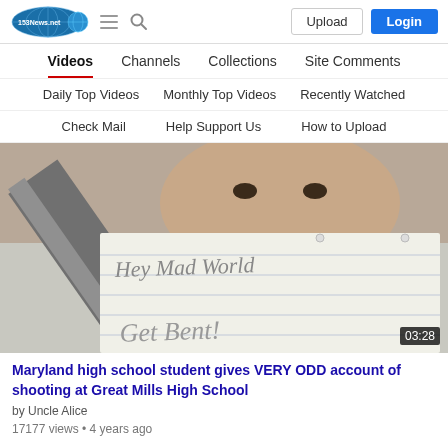[Figure (logo): 153News.net website logo - oval blue/teal design with globe]
Upload | Login
Videos | Channels | Collections | Site Comments
Daily Top Videos | Monthly Top Videos | Recently Watched
Check Mail | Help Support Us | How to Upload
[Figure (screenshot): Video thumbnail showing a man holding a knife and a notebook with handwritten text reading 'Hey Mad World, Get Bent!'. Duration: 03:28]
Maryland high school student gives VERY ODD account of shooting at Great Mills High School
by Uncle Alice
17177 views • 4 years ago